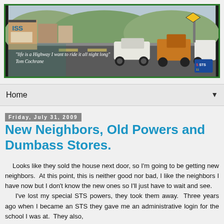[Figure (photo): Header banner showing a vintage highway scene with cars on a road, storefronts visible. Handwritten text overlay reads: "life is a Highway I want to ride it all night long" Tom Cochrane. Green border around the image.]
Home ▼
Friday, July 31, 2009
New Neighbors, Old Powers and Dumbass Stores.
Looks like they sold the house next door, so I'm going to be getting new neighbors.  At this point, this is neither good nor bad, I like the neighbors I have now but I don't know the new ones so I'll just have to wait and see.
	I've lost my special STS powers, they took them away.  Three years ago when I became an STS they gave me an administrative login for the school I was at.  They also,